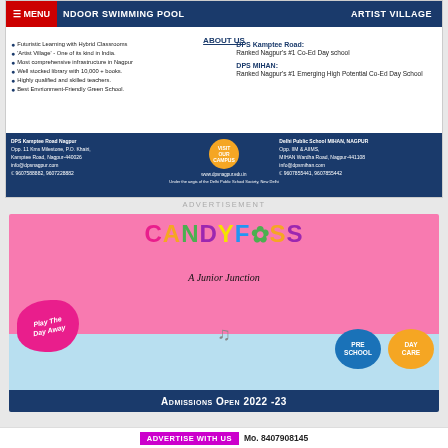[Figure (infographic): DPS school advertisement with INDOOR SWIMMING POOL and ARTIST VILLAGE header, ABOUT US section with bullet points and school rankings, contact information for DPS Kamptee Road Nagpur and Delhi Public School MIHAN Nagpur]
ADVERTISEMENT
[Figure (infographic): Candyfloss A Junior Junction advertisement - pink background with colorful logo text, Play The Day Away blob, PRE SCHOOL and DAY CARE buttons, ADMISSIONS OPEN 2022-23 banner]
ADVERTISE WITH US  Mo. 8407908145